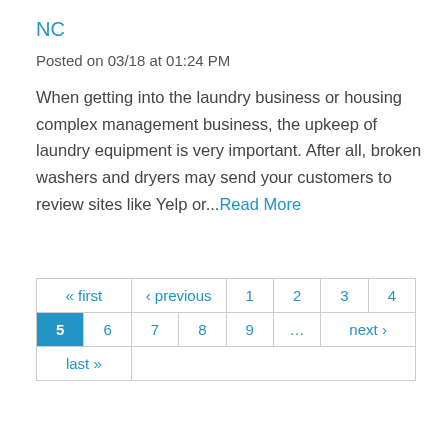NC
Posted on 03/18 at 01:24 PM
When getting into the laundry business or housing complex management business, the upkeep of laundry equipment is very important. After all, broken washers and dryers may send your customers to review sites like Yelp or...Read More
| « first | ‹ previous | 1 | 2 | 3 | 4 |
| 5 | 6 | 7 | 8 | 9 | ... | next › |
| last » |  |  |  |  |  |  |